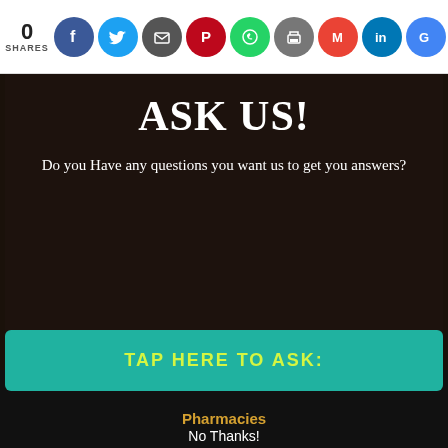0 SHARES
[Figure (screenshot): Social sharing bar with icons for Facebook, Twitter, Email, Pinterest, WhatsApp, Print, Gmail, LinkedIn, Google+]
ASK US!
Do you Have any questions you want us to get you answers?
TAP HERE TO ASK:
Pharmacies
No Thanks!
[Figure (photo): Dark background photo of a person's face, partially visible at the bottom of the page]